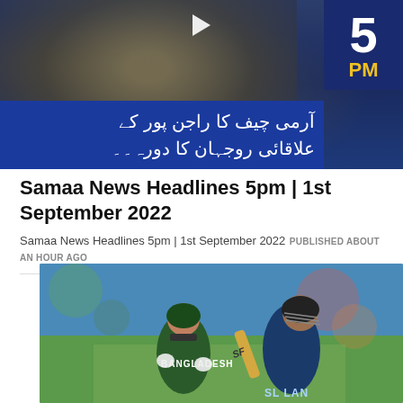[Figure (screenshot): Video thumbnail showing Pakistani military soldiers with Urdu text overlay and a '5 PM' news badge on the right. Urdu text reads: آرمی چیف کا راجن پور کے علاقائی روجہان کا دورہ]
Samaa News Headlines 5pm | 1st September 2022
Samaa News Headlines 5pm | 1st September 2022 PUBLISHED ABOUT AN HOUR AGO
[Figure (photo): Cricket match photo showing a Sri Lanka batsman playing a shot while a Bangladesh wicketkeeper watches. The batter uses an SF bat. Players' jerseys show 'BANGLADESH' and 'SL LAN'.]